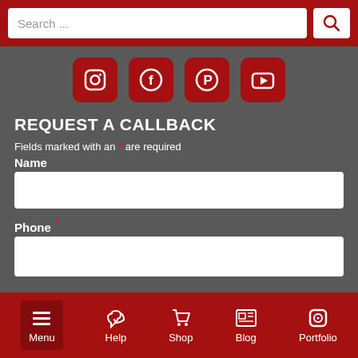[Figure (screenshot): Search bar with placeholder text 'Search ...' and red search button with magnifying glass icon]
[Figure (infographic): Row of four social media icons (Instagram, Facebook, Pinterest, YouTube) on dark gray background with red rounded square backgrounds]
REQUEST A CALLBACK
Fields marked with an * are required
Name
[Figure (screenshot): Empty white text input field for Name]
Phone *
[Figure (screenshot): Empty white text input field for Phone]
[Figure (infographic): Bottom navigation bar with Menu, Help, Shop, Blog, Portfolio icons on red background]